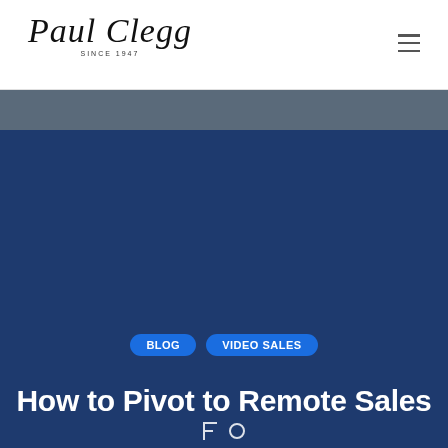[Figure (logo): Paul Clegg cursive script logo with 'SINCE 1947' text below]
[Figure (photo): Dark blurred hero image background — dark blue overlay with a faded photographic top strip]
BLOG
VIDEO SALES
How to Pivot to Remote Sales